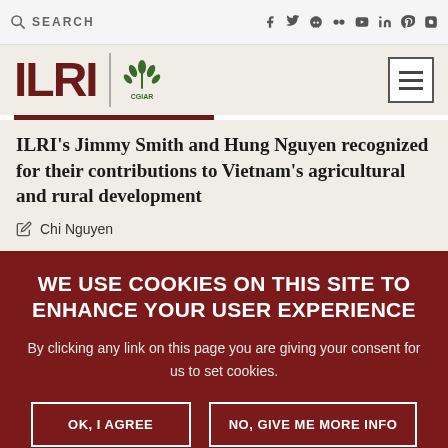SEARCH | social icons: f, twitter, skull, flickr, youtube, in, pinterest, instagram
[Figure (logo): ILRI CGIAR logo with hamburger menu button]
ILRI's Jimmy Smith and Hung Nguyen recognized for their contributions to Vietnam's agricultural and rural development
Chi Nguyen
WE USE COOKIES ON THIS SITE TO ENHANCE YOUR USER EXPERIENCE
By clicking any link on this page you are giving your consent for us to set cookies.
OK, I AGREE | NO, GIVE ME MORE INFO